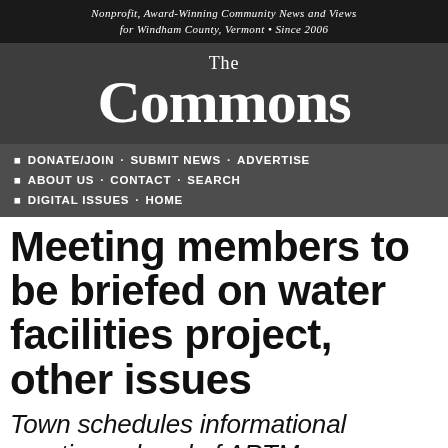Nonprofit, Award-Winning Community News and Views for Windham County, Vermont • Since 2006
[Figure (logo): The Commons newspaper logo — large serif text reading 'The Commons' in white on dark grey background]
DONATE/JOIN · SUBMIT NEWS · ADVERTISE
ABOUT US · CONTACT · SEARCH
DIGITAL ISSUES · HOME
Meeting members to be briefed on water facilities project, other issues
Town schedules informational meetings ahead of ARTM